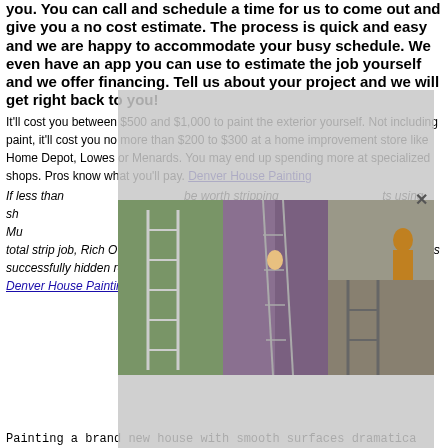you. You can call and schedule a time for us to come out and give you a no cost estimate. The process is quick and easy and we are happy to accommodate your busy schedule. We even have an app you can use to estimate the job yourself and we offer financing. Tell us about your project and we will get right back to you!
It'll cost you between $500 and $1,000 to paint the exterior yourself. Not including paint, it'll cost you no more than $200 to $300 at a home improvement store like Home Depot, Lowes or Menards. You may end up spending more at specialized shops. Pros know what you'll pay. Denver House Painting
If less than ... be worth stripping ... ts using sh... ed paint strippers ... ppers (like Mu... e or two of sa... t take the shock of a total strip job, Rich O'Neil, of Masterwork Painting in Bedford, Massachusetts, has successfully hidden rough, well-adhered paint under Peel Bond, a thick primer. Denver House Painting
[Figure (photo): Three photos of people working on ladders painting house exteriors]
Painting a brand new house with smooth surfaces dramatica